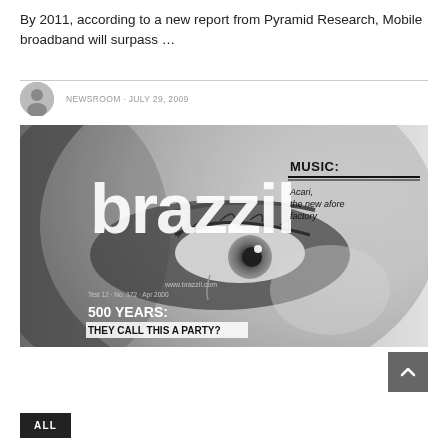By 2011, according to a new report from Pyramid Research, Mobile broadband will surpass ...
NEWSROOM · JULY 29, 2009
[Figure (photo): Black and white magazine cover of 'brazzil' magazine. Large stylized title text 'brazzil' across the center. Close-up of a person's eye and face in black and white. Text reads 'MUSIC: Acari, the new afore factory' on the right. Bottom left reads '500 YEARS: THEY CALL THIS A PARTY?' with a box around the subtitle. Small text visible: 'Test 12 · No. 172 · Apr 2000' and 'www.brazzil.com']
ALL